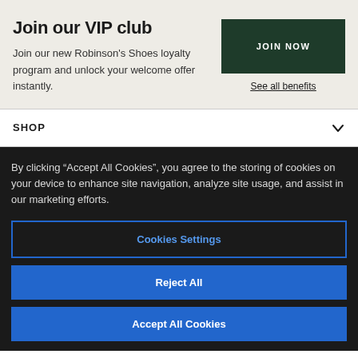Join our VIP club
Join our new Robinson's Shoes loyalty program and unlock your welcome offer instantly.
JOIN NOW
See all benefits
SHOP
By clicking “Accept All Cookies”, you agree to the storing of cookies on your device to enhance site navigation, analyze site usage, and assist in our marketing efforts.
Cookies Settings
Reject All
Accept All Cookies